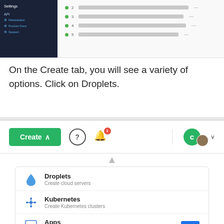[Figure (screenshot): Screenshot of a web interface showing a dark sidebar navigation on the left with items like 'Settings', 'API', 'Marketplace', 'Product Docs', 'Support', and a content area on the right with numbered rows and dashes.]
On the Create tab, you will see a variety of options. Click on Droplets.
[Figure (screenshot): Screenshot of DigitalOcean UI showing a green 'Create' button with a caret, a help '?' icon, a bell notification icon with badge '1', and a user avatar. Below is a dropdown menu with options: Droplets (Create cloud servers), Kubernetes (Create Kubernetes clusters), Apps (Deploy your code) with a NEW badge, and Databases (partially visible).]